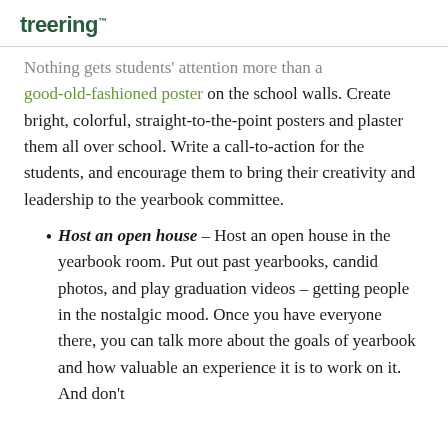treering
Nothing gets students' attention more than a good-old-fashioned poster on the school walls. Create bright, colorful, straight-to-the-point posters and plaster them all over school. Write a call-to-action for the students, and encourage them to bring their creativity and leadership to the yearbook committee.
Host an open house – Host an open house in the yearbook room. Put out past yearbooks, candid photos, and play graduation videos – getting people in the nostalgic mood. Once you have everyone there, you can talk more about the goals of yearbook and how valuable an experience it is to work on it. And don't